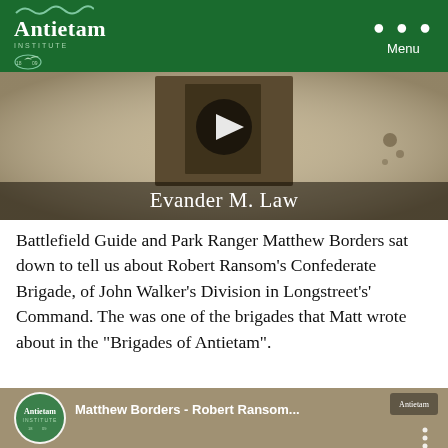Antietam Institute — Menu
[Figure (screenshot): Video thumbnail showing a sepia historical photograph of a Civil War figure with text 'Evander M. Law' and a play button overlay]
Battlefield Guide and Park Ranger Matthew Borders sat down to tell us about Robert Ransom’s Confederate Brigade, of John Walker’s Division in Longstreet’s’ Command. The was one of the brigades that Matt wrote about in the “Brigades of Antietam”.
[Figure (screenshot): YouTube video thumbnail for 'Matthew Borders - Robert Ransom...' with Antietam Institute logo and three-dot menu]